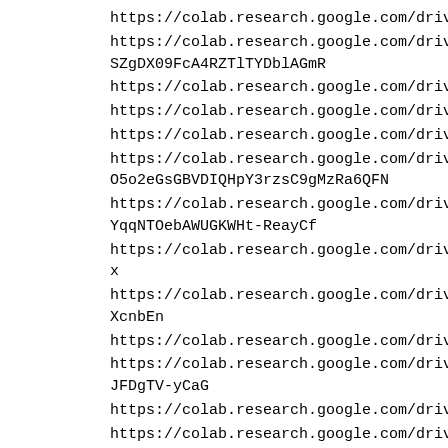https://colab.research.google.com/drive/1vVLAV2UewzZ75It1aP
https://colab.research.google.com/drive/13nUP1rO-SZgDX09FcA4RZTlTYDblAGmR
https://colab.research.google.com/drive/1oBhFNf8RhR7DDFWIT
https://colab.research.google.com/drive/1DaoZhNKAUZeDm_rM
https://colab.research.google.com/drive/15EO6tTtTE5WkdLqMF
https://colab.research.google.com/drive/1-O5o2eGsGBVDIQHpY3rzsC9gMzRa6QFN
https://colab.research.google.com/drive/14mTQMQq2-YqqNTOebAWUGKWHt-ReayCf
https://colab.research.google.com/drive/1lpWS4EywFKdfs4ooyx
https://colab.research.google.com/drive/12FvtfH8FsWGpNkhpKXcnbEn
https://colab.research.google.com/drive/1ANPCSZmFsmmuX8d
https://colab.research.google.com/drive/1V1me24EW7y8vXR9fJFDgTV-yCaG
https://colab.research.google.com/drive/19sssZi6o1YqtHHPdK7
https://colab.research.google.com/drive/1UczEItiHuFSI23CJ5rS